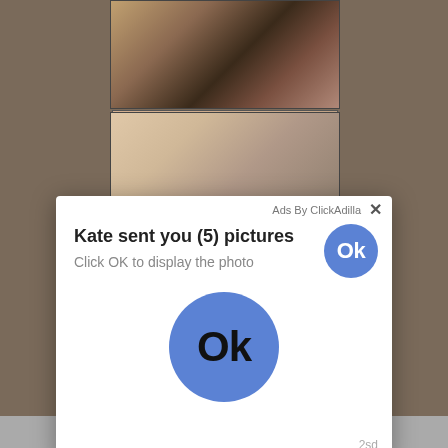[Figure (photo): Screenshot of a webpage with adult content images partially visible in the background, overlaid by an ad popup]
[Figure (screenshot): Ad overlay popup from ClickAdilla: 'Kate sent you (5) pictures. Click OK to display the photo.' with a blue Ok button]
Ads By ClickAdilla
Kate sent you (5) pictures
Click OK to display the photo
2sd